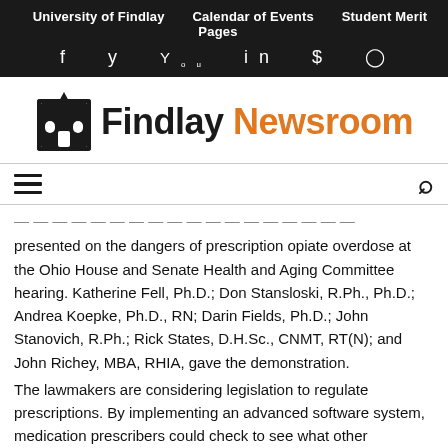University of Findlay   Calendar of Events   Student Merit Pages
[Figure (logo): Findlay Newsroom logo with building icon and text 'Findlay Newsroom' where 'Newsroom' is in orange]
presented on the dangers of prescription opiate overdose at the Ohio House and Senate Health and Aging Committee hearing. Katherine Fell, Ph.D.; Don Stansloski, R.Ph., Ph.D.; Andrea Koepke, Ph.D., RN; Darin Fields, Ph.D.; John Stanovich, R.Ph.; Rick States, D.H.Sc., CNMT, RT(N); and John Richey, MBA, RHIA, gave the demonstration.
The lawmakers are considering legislation to regulate prescriptions. By implementing an advanced software system, medication prescribers could check to see what other prescriptions a patient has been prescribed. Often, a patient may be prescribed different